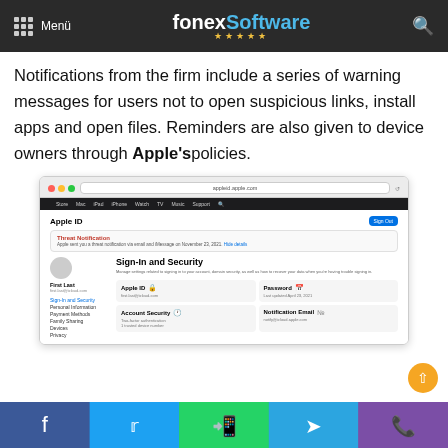Menü | fonexSoftware ★★★★★
Notifications from the firm include a series of warning messages for users not to open suspicious links, install apps and open files. Reminders are also given to device owners through Apple'spolicies.
[Figure (screenshot): Screenshot of Apple ID page in browser showing Sign-In and Security section with Threat Notification banner, profile info, and security settings cards.]